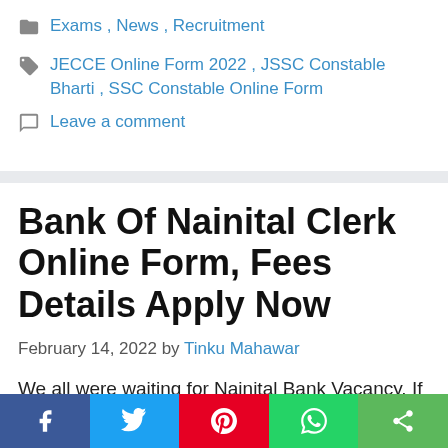Exams, News, Recruitment
JECCE Online Form 2022, JSSC Constable Bharti, SSC Constable Online Form
Leave a comment
Bank Of Nainital Clerk Online Form, Fees Details Apply Now
February 14, 2022 by Tinku Mahawar
We all were waiting for Nainital Bank Vacancy. If you were also waiting for this